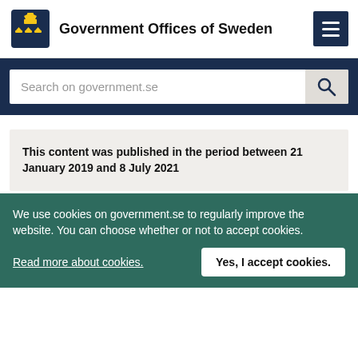Government Offices of Sweden
This content was published in the period between 21 January 2019 and 8 July 2021
Article from Ministry of Defence
Discussions on the challenges of
We use cookies on government.se to regularly improve the website. You can choose whether or not to accept cookies.
Read more about cookies.
Yes, I accept cookies.